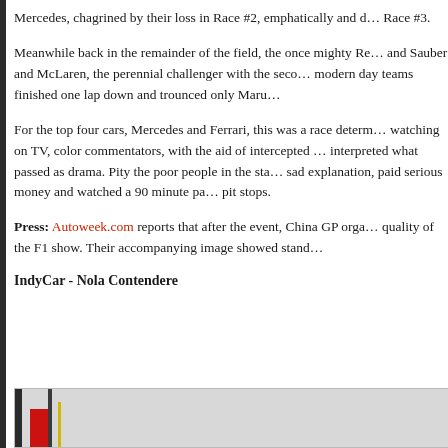Mercedes, chagrined by their loss in Race #2, emphatically and d... Race #3.
Meanwhile back in the remainder of the field, the once mighty Re... and Sauber and McLaren, the perennial challenger with the seco... modern day teams finished one lap down and trounced only Maru...
For the top four cars, Mercedes and Ferrari, this was a race determ... watching on TV, color commentators, with the aid of intercepted ... interpreted what passed as drama. Pity the poor people in the sta... sad explanation, paid serious money and watched a 90 minute pa... pit stops.
Press: Autoweek.com reports that after the event, China GP orga... quality of the F1 show. Their accompanying image showed stand...
IndyCar - Nola Contendere
[Figure (photo): Partial view of racing car or racing scene with red, black, and yellow elements visible at the bottom of the page.]